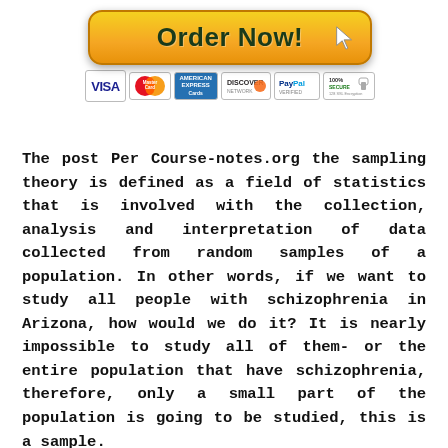[Figure (other): Order Now button with golden gradient background, dark green bold text 'Order Now!' and a cursor arrow icon on the right side]
[Figure (other): Payment method icons: VISA, MasterCard, American Express, DISCOVER, PayPal Verified, 100% Secure 128 SSL Encryption]
The post Per Course-notes.org the sampling theory is defined as a field of statistics that is involved with the collection, analysis and interpretation of data collected from random samples of a population. In other words, if we want to study all people with schizophrenia in Arizona, how would we do it? It is nearly impossible to study all of them- or the entire population that have schizophrenia, therefore, only a small part of the population is going to be studied, this is a sample.